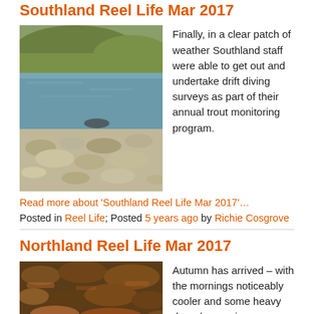Southland Reel Life Mar 2017
[Figure (photo): A clear river scene with rocky riverbed, shallow water, and green vegetation on the bank in the background — Southland drift diving survey location.]
Finally, in a clear patch of weather Southland staff were able to get out and undertake drift diving surveys as part of their annual trout monitoring program.
Read more about 'Southland Reel Life Mar 2017'…
Posted in Reel Life; Posted 5 years ago by Richie Cosgrove
Northland Reel Life Mar 2017
[Figure (photo): A close-up photograph of a rocky or earthy surface with autumn tones — Northland fishing location image.]
Autumn has arrived – with the mornings noticeably cooler and some heavy dews happening.